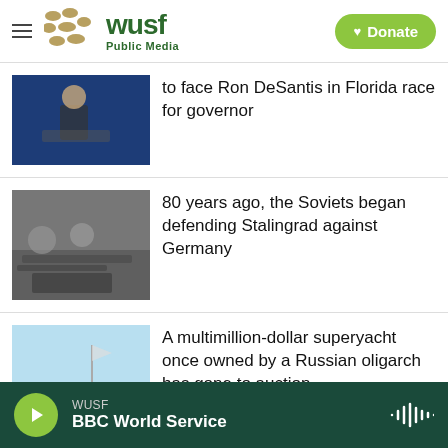WUSF Public Media
to face Ron DeSantis in Florida race for governor
80 years ago, the Soviets began defending Stalingrad against Germany
A multimillion-dollar superyacht once owned by a Russian oligarch has gone to auction
WUSF BBC World Service